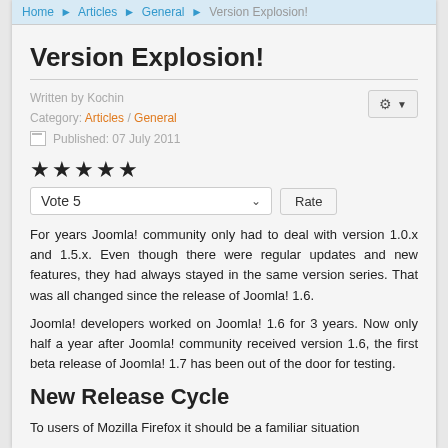Home ▶ Articles ▶ General ▶ Version Explosion!
Version Explosion!
Written by Kochin
Category: Articles / General
Published: 07 July 2011
★★★★★
Vote 5  [Rate]
For years Joomla! community only had to deal with version 1.0.x and 1.5.x. Even though there were regular updates and new features, they had always stayed in the same version series. That was all changed since the release of Joomla! 1.6.
Joomla! developers worked on Joomla! 1.6 for 3 years. Now only half a year after Joomla! community received version 1.6, the first beta release of Joomla! 1.7 has been out of the door for testing.
New Release Cycle
To users of Mozilla Firefox it should be a familiar situation